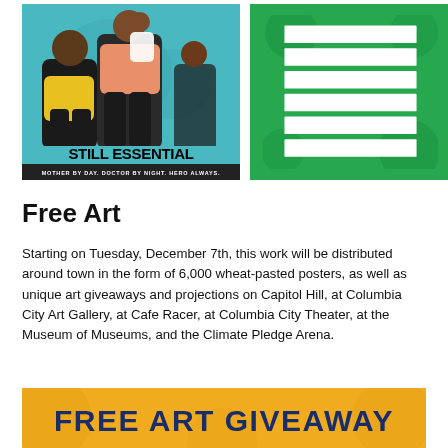[Figure (illustration): Illustration poster titled 'Still Essential' showing figures (woman carrying child) on a teal/blue background. Subtitle reads 'Mother by day. Doctor by night. Hero always.']
[Figure (other): Green card with 6 blank white horizontal lines, resembling a form or label card with decorative green border and background.]
Free Art
Starting on Tuesday, December 7th, this work will be distributed around town in the form of 6,000 wheat-pasted posters, as well as unique art giveaways and projections on Capitol Hill, at Columbia City Art Gallery, at Cafe Racer, at Columbia City Theater, at the Museum of Museums, and the Climate Pledge Arena.
[Figure (other): Bottom banner with yellow/golden background and dark blue bold text reading 'FREE ART GIVEAWAY']